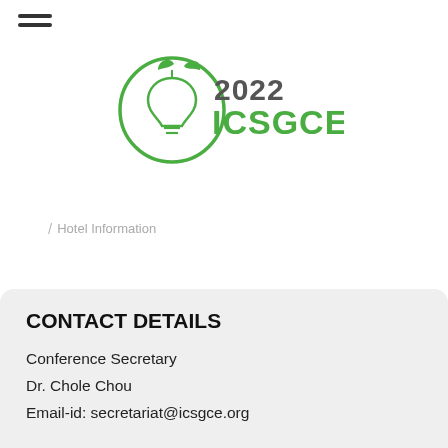[Figure (logo): 2022 ICSGCE conference logo with green leaf and lightbulb circular icon and text '2022 ICSGCE' in green and gray]
/ Hotel Information
CONTACT DETAILS
Conference Secretary
Dr. Chole Chou
Email-id: secretariat@icsgce.org